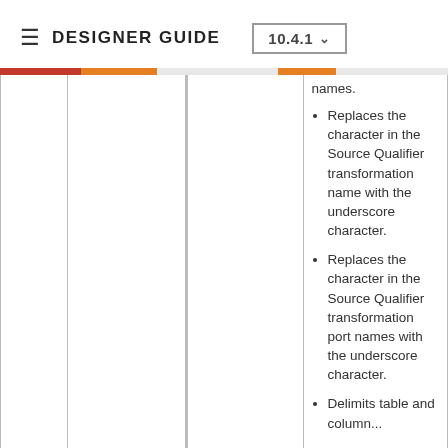DESIGNER GUIDE  10.4.1
|  |  |  |  |
| --- | --- | --- | --- |
|  |  |  | names.
• Replaces the character in the Source Qualifier transformation name with the underscore character.
• Replaces the character in the Source Qualifier transformation port names with the underscore character.
• Delimits table and column... |